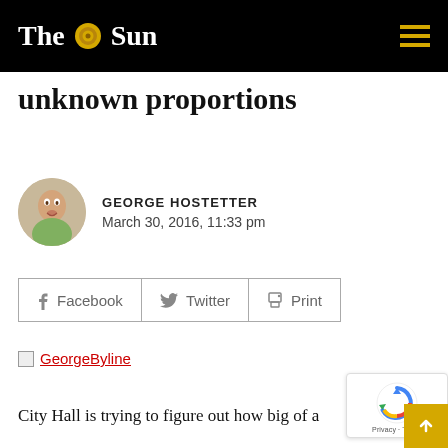The Sun
unknown proportions
GEORGE HOSTETTER
March 30, 2016, 11:33 pm
[Figure (other): Facebook, Twitter, Print share buttons]
[Figure (other): GeorgeByline image link (broken image icon with red underlined text link)]
City Hall is trying to figure out how big of a